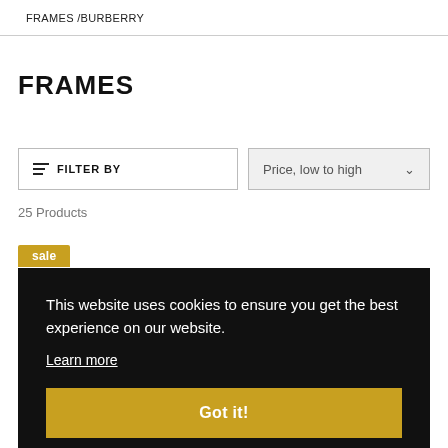FRAMES /BURBERRY
FRAMES
FILTER BY
Price, low to high
25 Products
sale
This website uses cookies to ensure you get the best experience on our website.
Learn more
Got it!